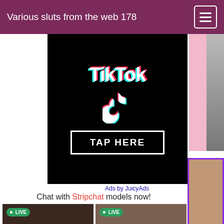Various sluts from the web 178
[Figure (screenshot): TikTok advertisement with TikTok logo and 'TAP HERE' button on black background, with 'Ads by JuicyAds' label]
[Figure (photo): Right side partial image with pink area and black-and-white photo]
[Figure (photo): Right side partial image with purple border]
Chat with Stripchat models now!
[Figure (screenshot): Live webcam thumbnail showing Vivian_MayXxX with LIVE badge]
[Figure (screenshot): Live webcam thumbnail showing chloetease with LIVE badge]
[Figure (photo): Right side partial image with green and photo areas]
[Figure (photo): Bottom right partial photo]
[Figure (photo): Bottom strip partial images]